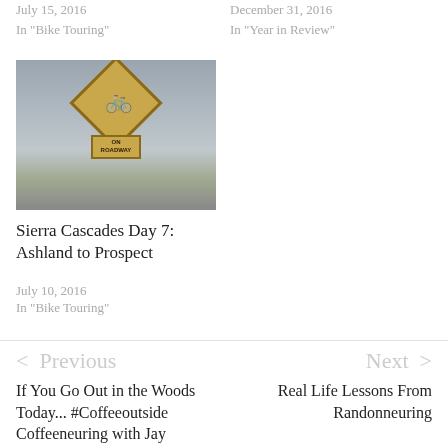July 15, 2016
In "Bike Touring"
December 31, 2016
In "Year in Review"
[Figure (photo): A yellow diamond-shaped bicycle road sign reading 'ON ROADWAY' against a cloudy grey sky with hills in the background]
Sierra Cascades Day 7: Ashland to Prospect
July 10, 2016
In "Bike Touring"
< Previous
Next >
If You Go Out in the Woods Today... #Coffeeoutside Coffeeneuring with Jay
Real Life Lessons From Randonneuring